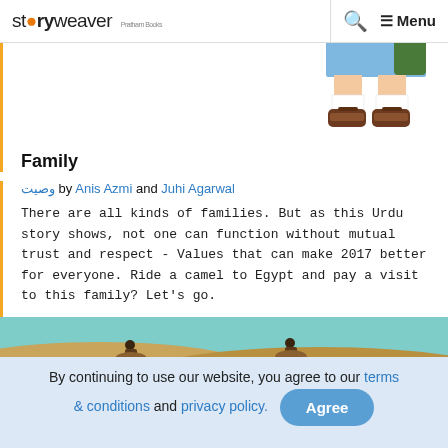storyweaver (logo) | Search | Menu
[Figure (illustration): Partial illustration of a girl's legs wearing a blue skirt, white socks and brown sandals, cropped at top]
Family
وصیت by Anis Azmi and Juhi Agarwal
There are all kinds of families. But as this Urdu story shows, not one can function without mutual trust and respect - Values that can make 2017 better for everyone. Ride a camel to Egypt and pay a visit to this family? Let's go.
[Figure (illustration): Bottom strip showing a desert/Egypt scene with teal sky and sandy dunes]
By continuing to use our website, you agree to our terms & conditions and privacy policy. [Agree button]